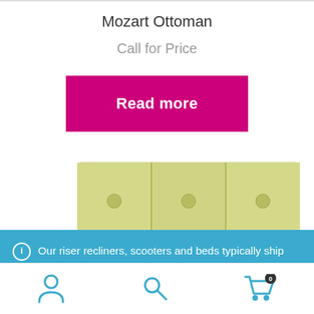Mozart Ottoman
Call for Price
Read more
[Figure (photo): Photo of a light yellow-green tufted ottoman/sofa against a white background]
Our riser recliners, scooters and beds typically ship anywhere in the UK within 4-6 weeks. Due to COVID-19 - please allow between 6-8 weeks for some large items. Dismiss